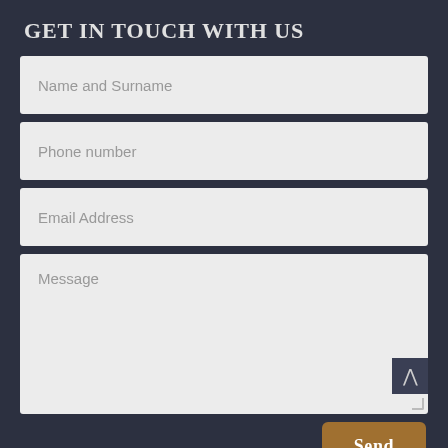GET IN TOUCH WITH US
[Figure (screenshot): Contact form with four input fields: Name and Surname, Phone number, Email Address, and Message (textarea), plus a Send button. Background is dark navy. Input fields have light gray background. Send button is brown/gold colored.]